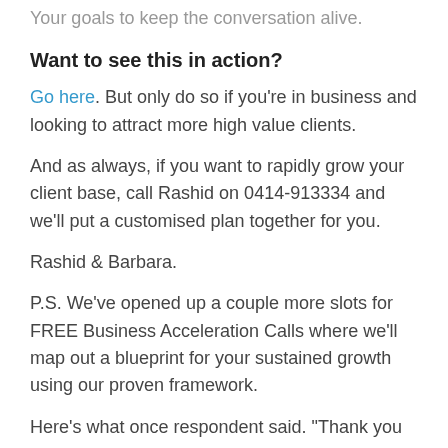Your goals to keep the conversation alive.
Want to see this in action?
Go here. But only do so if you're in business and looking to attract more high value clients.
And as always, if you want to rapidly grow your client base, call Rashid on 0414-913334 and we'll put a customised plan together for you.
Rashid & Barbara.
P.S. We've opened up a couple more slots for FREE Business Acceleration Calls where we'll map out a blueprint for your sustained growth using our proven framework.
Here's what once respondent said. "Thank you